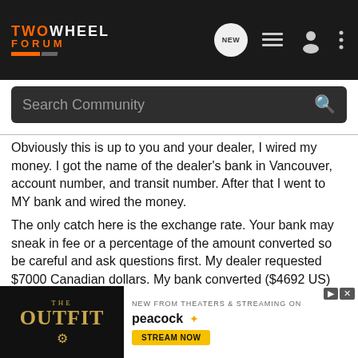TWOWHEEL FORUM
Obviously this is up to you and your dealer, I wired my money. I got the name of the dealer's bank in Vancouver, account number, and transit number. After that I went to MY bank and wired the money.
The only catch here is the exchange rate. Your bank may sneak in fee or a percentage of the amount converted so be careful and ask questions first. My dealer requested $7000 Canadian dollars. My bank converted ($4692 US) and wired it to him. In case you don't know "wiring" money is not as fast as the name implies, it will take a day or so.
Step Five: Coordinate all three parties
This was my biggest headache. The broker needs to prepare the pape... be given to... so he's
[Figure (screenshot): Advertisement overlay for 'The Outfit' movie streaming on Peacock, with Stream Now button]